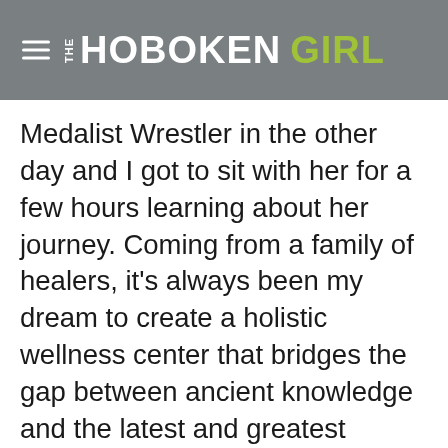THE HOBOKEN GIRL
Medalist Wrestler in the other day and I got to sit with her for a few hours learning about her journey. Coming from a family of healers, it's always been my dream to create a holistic wellness center that bridges the gap between ancient knowledge and the latest and greatest technologies in health. This has become an amazing business and personal lifestyle for myself. We're building a community of amazing people that are not only healing themselves mentally, physically and spiritually, but also creating that positive ripple effect in their